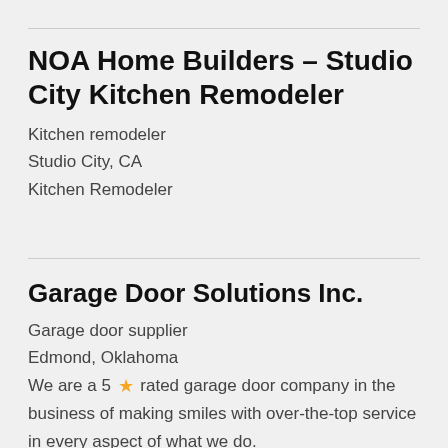NOA Home Builders – Studio City Kitchen Remodeler
Kitchen remodeler
Studio City, CA
Kitchen Remodeler
Garage Door Solutions Inc.
Garage door supplier
Edmond, Oklahoma
We are a 5 ★ rated garage door company in the business of making smiles with over-the-top service in every aspect of what we do.